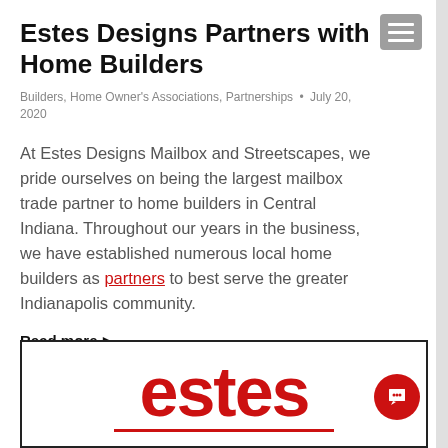Estes Designs Partners with Home Builders
Builders, Home Owner's Associations, Partnerships • July 20, 2020
At Estes Designs Mailbox and Streetscapes, we pride ourselves on being the largest mailbox trade partner to home builders in Central Indiana. Throughout our years in the business, we have established numerous local home builders as partners to best serve the greater Indianapolis community.
Read more ▶
[Figure (logo): Estes company logo in red bold text with a red underline, inside a black-bordered card]